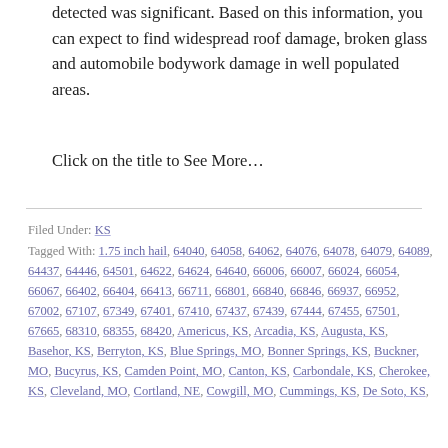detected was significant. Based on this information, you can expect to find widespread roof damage, broken glass and automobile bodywork damage in well populated areas.
Click on the title to See More…
Filed Under: KS
Tagged With: 1.75 inch hail, 64040, 64058, 64062, 64076, 64078, 64079, 64089, 64437, 64446, 64501, 64622, 64624, 64640, 66006, 66007, 66024, 66054, 66067, 66402, 66404, 66413, 66711, 66801, 66840, 66846, 66937, 66952, 67002, 67107, 67349, 67401, 67410, 67437, 67439, 67444, 67455, 67501, 67665, 68310, 68355, 68420, Americus, KS, Arcadia, KS, Augusta, KS, Basehor, KS, Berryton, KS, Blue Springs, MO, Bonner Springs, KS, Buckner, MO, Bucyrus, KS, Camden Point, MO, Canton, KS, Carbondale, KS, Cherokee, KS, Cleveland, MO, Cortland, NE, Cowgill, MO, Cummings, KS, De Soto, KS,